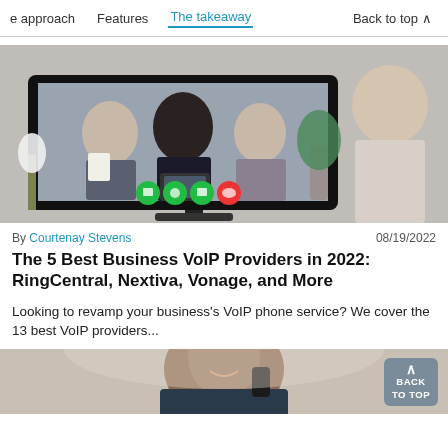e approach   Features   The takeaway   Back to top ^
[Figure (photo): A person on a video call with three colleagues visible on a large monitor screen, sitting in front of a brick wall with a plant, video call control icons visible at the bottom of the screen.]
By Courtenay Stevens   08/19/2022
The 5 Best Business VoIP Providers in 2022: RingCentral, Nextiva, Vonage, and More
Looking to revamp your business's VoIP phone service? We cover the 13 best VoIP providers...
[Figure (photo): A smiling man in a suit talking on a mobile phone, cropped at the bottom of the page. A 'Back to Top' button is overlaid in the bottom right corner.]